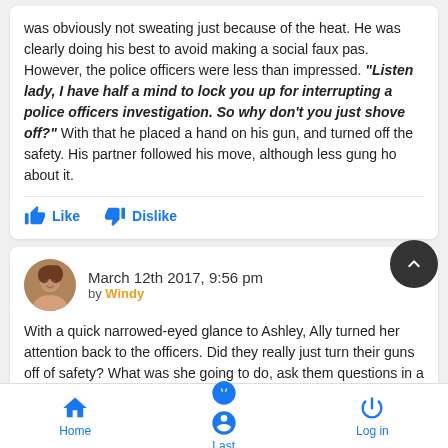was obviously not sweating just because of the heat. He was clearly doing his best to avoid making a social faux pas. However, the police officers were less than impressed. "Listen lady, I have half a mind to lock you up for interrupting a police officers investigation. So why don't you just shove off?" With that he placed a hand on his gun, and turned off the safety. His partner followed his move, although less gung ho about it.
Like   Dislike
March 12th 2017, 9:56 pm
by Windy
With a quick narrowed-eyed glance to Ashley, Ally turned her attention back to the officers. Did they really just turn their guns off of safety? What was she going to do, ask them questions in a menacing way? This annoyed her quite a bit. "I was only asking questions" she spoke in a sort of snobbish manner, but not